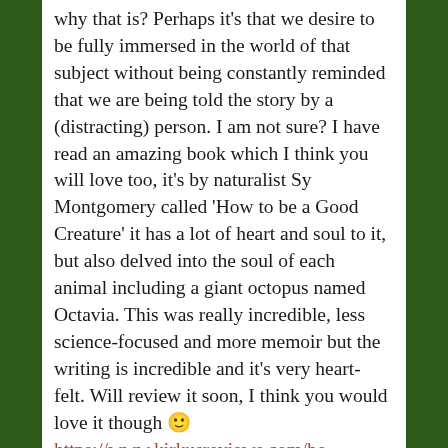why that is? Perhaps it's that we desire to be fully immersed in the world of that subject without being constantly reminded that we are being told the story by a (distracting) person. I am not sure? I have read an amazing book which I think you will love too, it's by naturalist Sy Montgomery called 'How to be a Good Creature' it has a lot of heart and soul to it, but also delved into the soul of each animal including a giant octopus named Octavia. This was really incredible, less science-focused and more memoir but the writing is incredible and it's very heart-felt. Will review it soon, I think you would love it though 🙂 https://www.kirkusreviews.com/bo